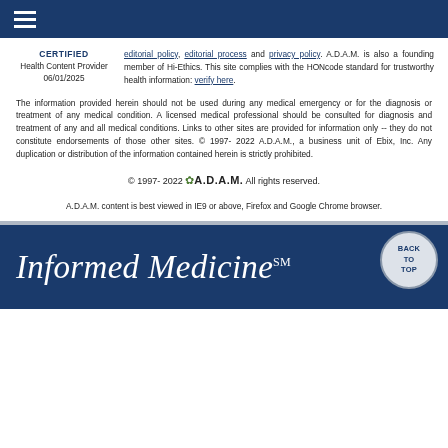≡ (hamburger menu icon)
CERTIFIED
Health Content Provider
06/01/2025
editorial policy, editorial process and privacy policy. A.D.A.M. is also a founding member of Hi-Ethics. This site complies with the HONcode standard for trustworthy health information: verify here.
The information provided herein should not be used during any medical emergency or for the diagnosis or treatment of any medical condition. A licensed medical professional should be consulted for diagnosis and treatment of any and all medical conditions. Links to other sites are provided for information only -- they do not constitute endorsements of those other sites. © 1997- 2022 A.D.A.M., a business unit of Ebix, Inc. Any duplication or distribution of the information contained herein is strictly prohibited.
© 1997- 2022 🌿 A.D.A.M. All rights reserved.
A.D.A.M. content is best viewed in IE9 or above, Firefox and Google Chrome browser.
Informed Medicine℠